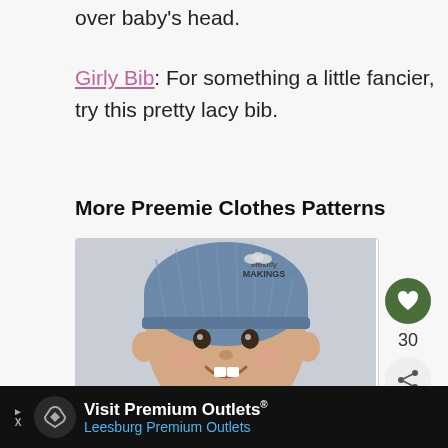over baby's head.
Girly Bib: For something a little fancier, try this pretty lacy bib.
More Preemie Clothes Patterns
[Figure (photo): Baby wearing a blue knitted beanie hat, smiling, in a white onesie. Logo reads 'Melody MAKINGS' in the corner.]
Simple Square Beanie Knitting Pattern - All sizes Preemie through Adult Male
$5.50
[Figure (photo): What's Next panel showing a thumbnail image with text 'Everything You Need to...']
[Figure (infographic): Advertisement bar: Visit Premium Outlets® Leesburg Premium Outlets with navigation icon]